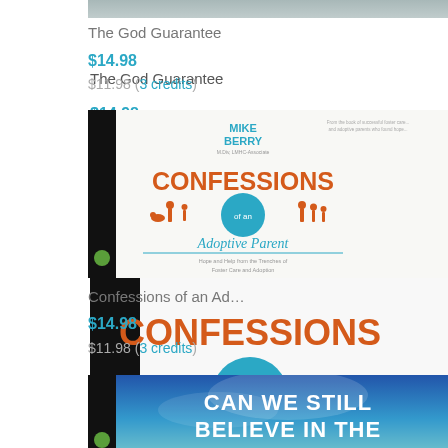[Figure (photo): Top portion of a book cover, partially cropped at top of page]
The God Guarantee
$14.98
$11.98 (3 credits)
[Figure (photo): Book cover: Confessions of an Adoptive Parent by Mike Berry, published by christianaudio. Cover shows orange text with teal circle and silhouettes of family figures.]
Confessions of an Ad…
$14.98
$11.98 (3 credits)
[Figure (photo): Book cover: Can We Still Believe In The... — partially visible at bottom of page, blue sky background with bold white text]